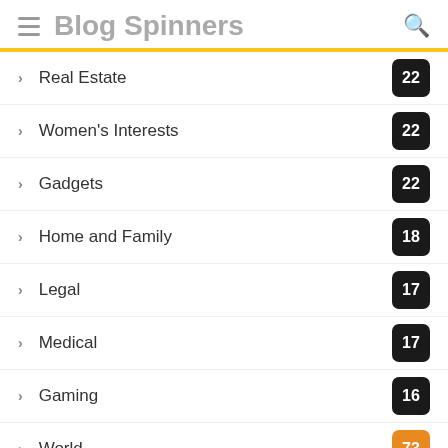Blog Spinners
Real Estate 22
Women's Interests 22
Gadgets 22
Home and Family 18
Legal 17
Medical 17
Gaming 16
World 73
Travel 33
Games 18
Foods 11